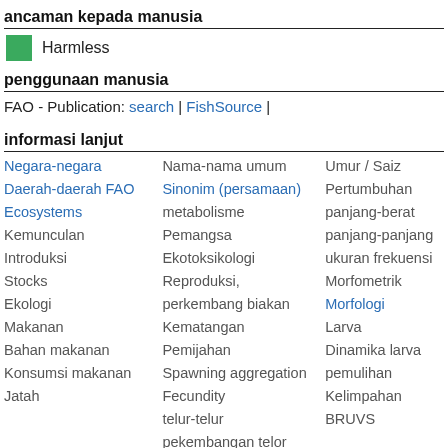ancaman kepada manusia
Harmless
penggunaan manusia
FAO - Publication: search | FishSource |
informasi lanjut
| Negara-negara | Nama-nama umum | Umur / Saiz |
| Daerah-daerah FAO | Sinonim (persamaan) | Pertumbuhan |
| Ecosystems | metabolisme | panjang-berat |
| Kemunculan | Pemangsa | panjang-panjang |
| Introduksi | Ekotoksikologi | ukuran frekuensi |
| Stocks | Reproduksi, | Morfometrik |
| Ekologi | perkembang biakan | Morfologi |
| Makanan | Kematangan | Larva |
| Bahan makanan | Pemijahan | Dinamika larva |
| Konsumsi makanan | Spawning aggregation | pemulihan |
| Jatah | Fecundity | Kelimpahan |
|  | telur-telur | BRUVS |
|  | pekembangan telor |  |